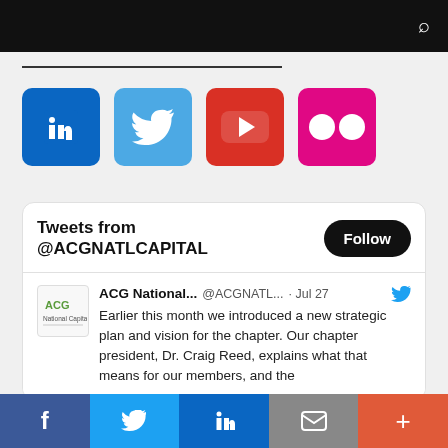[Figure (screenshot): Black top navigation bar with search icon]
[Figure (illustration): Social media icons row: LinkedIn (blue), Twitter (light blue), YouTube (red), Flickr (pink)]
[Figure (screenshot): Twitter widget showing 'Tweets from @ACGNATLCAPITAL' with Follow button, and a tweet from ACG National Capital dated Jul 27 about a new strategic plan]
[Figure (infographic): Bottom share bar with Facebook, Twitter, LinkedIn, Email, and More buttons]